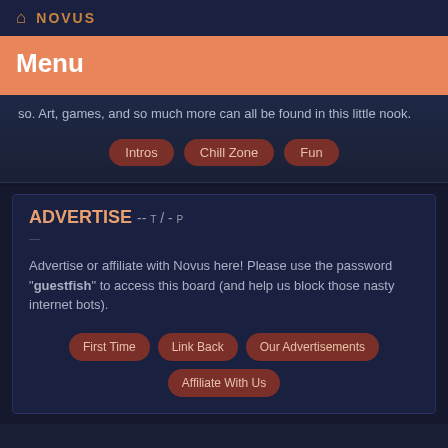NOVUS
Menu
so. Art, games, and so much more can all be found in this little nook.
Intros
Chill Zone
Fun
Advertise -- t / - p
Advertise or affiliate with Novus here! Please use the password "guestfish" to access this board (and help us block those nasty internet bots).
First Time
Link Back
Our Advertisements
Affiliate With Us